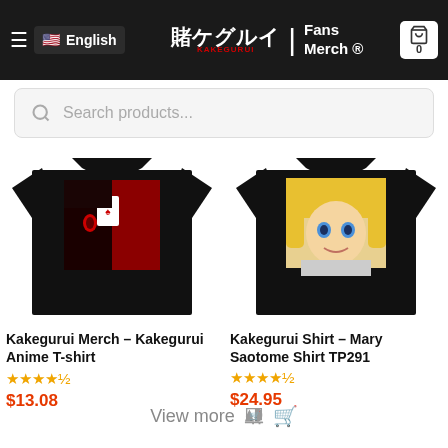English | Kakegurui Fans Merch
Search products...
[Figure (photo): Black anime t-shirt with Kakegurui character holding a playing card graphic]
Kakegurui Merch – Kakegurui Anime T-shirt
★★★★½
$13.08
[Figure (photo): Black anime t-shirt with Mary Saotome character graphic]
Kakegurui Shirt – Mary Saotome Shirt TP291
★★★★½
$24.95
View more